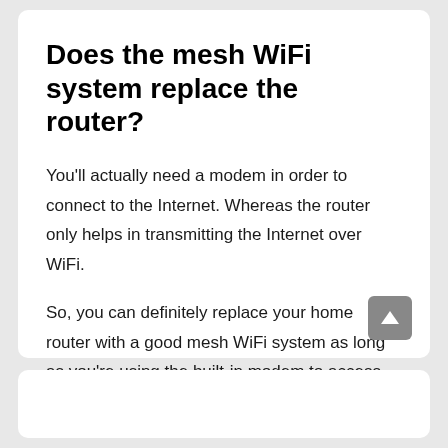Does the mesh WiFi system replace the router?
You'll actually need a modem in order to connect to the Internet. Whereas the router only helps in transmitting the Internet over WiFi.
So, you can definitely replace your home router with a good mesh WiFi system as long as you're using the built-in modem to access the Internet provided by your ISP network.